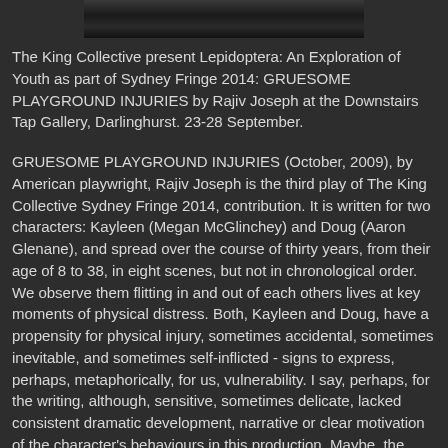[Figure (photo): Partial photo strip at top of page showing performers, dark toned image]
The King Collective present Lepidoptera: An Exploration of Youth as part of Sydney Fringe 2014: GRUESOME PLAYGROUND INJURIES by Rajiv Joseph at the Downstairs Tap Gallery, Darlinghurst. 23-28 September.
GRUESOME PLAYGROUND INJURIES (October, 2009), by American playwright, Rajiv Joseph is the third play of The King Collective Sydney Fringe 2014, contribution. It is written for two characters: Kayleen (Megan McGlinchey) and Doug (Aaron Glenane), and spread over the course of thirty years, from their age of 8 to 38, in eight scenes, but not in chronological order. We observe them flitting in and out of each others lives at key moments of physical distress. Both, Kayleen and Doug, have a propensity for physical injury, sometimes accidental, sometimes inevitable, and sometimes self-inflicted - signs to express, perhaps, metaphorically, for us, vulnerability. I say, perhaps, for the writing, although, sensitive, sometimes delicate, lacked consistent dramatic development, narrative or clear motivation of the character's behaviours in this production. Maybe, the 'card-shuffle'